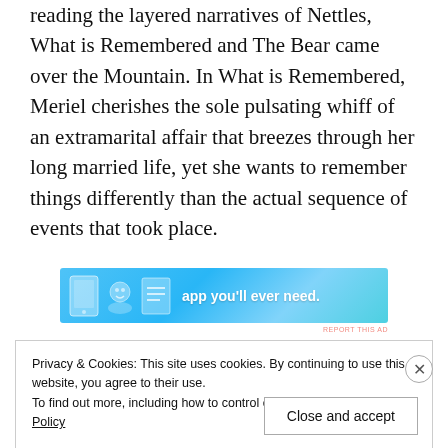reading the layered narratives of Nettles, What is Remembered and The Bear came over the Mountain. In What is Remembered, Meriel cherishes the sole pulsating whiff of an extramarital affair that breezes through her long married life, yet she wants to remember things differently than the actual sequence of events that took place.
[Figure (other): Advertisement banner with light blue background showing app icons and text 'app you'll ever need.']
REPORT THIS AD
Privacy & Cookies: This site uses cookies. By continuing to use this website, you agree to their use.
To find out more, including how to control cookies, see here: Cookie Policy
Close and accept